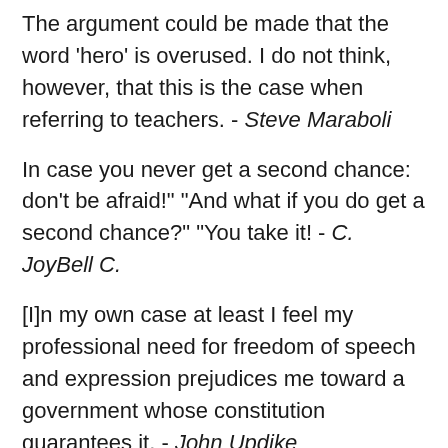The argument could be made that the word 'hero' is overused. I do not think, however, that this is the case when referring to teachers. - Steve Maraboli
In case you never get a second chance: don't be afraid!" "And what if you do get a second chance?" "You take it! - C. JoyBell C.
[I]n my own case at least I feel my professional need for freedom of speech and expression prejudices me toward a government whose constitution guarantees it. - John Updike
Selection is the very keel on which our